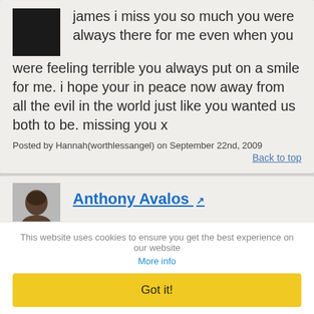[Figure (photo): Black redacted avatar image]
james i miss you so much you were always there for me even when you were feeling terrible you always put on a smile for me. i hope your in peace now away from all the evil in the world just like you wanted us both to be. missing you x
Posted by Hannah(worthlessangel) on September 22nd, 2009
Back to top
[Figure (photo): Photo of Anthony Avalos, a young person with dark hair]
Anthony Avalos
This website uses cookies to ensure you get the best experience on our website
More info
Got it!